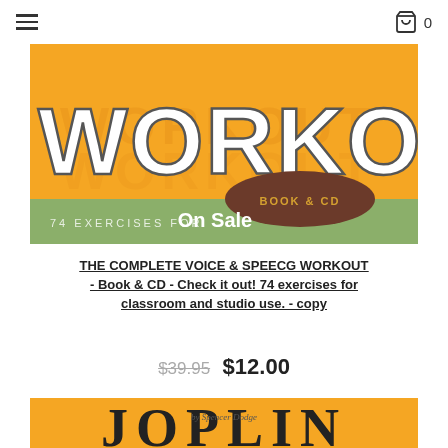≡  🛒 0
[Figure (photo): Book cover for 'The Complete Voice & Speech Workout' showing large orange/yellow background with bold white WORKOUT text and a 'Book & CD' oval badge. Green banner at bottom reads '74 Exercises for...' with 'On Sale' overlay text in white.]
THE COMPLETE VOICE & SPEECG WORKOUT - Book & CD - Check it out! 74 exercises for classroom and studio use. - copy
$39.95  $12.00
[Figure (photo): Partial view of another book cover showing 'JOPLIN' text on yellow/orange background with 'by Spencer Dodge' subtitle and what appears to be a piano image at bottom.]